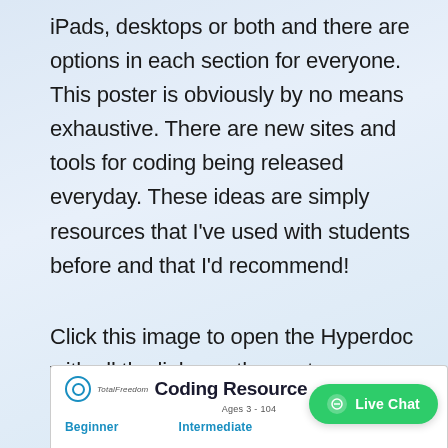iPads, desktops or both and there are options in each section for everyone. This poster is obviously by no means exhaustive. There are new sites and tools for coding being released everyday. These ideas are simply resources that I've used with students before and that I'd recommend!
Click this image to open the Hyperdoc with all the links on the poster.
[Figure (screenshot): Bottom preview of a coding resource poster showing logo, title 'Coding Resource', subtitle 'Ages 3-104', and tabs for Beginner and Intermediate, with a green Live Chat button overlay]